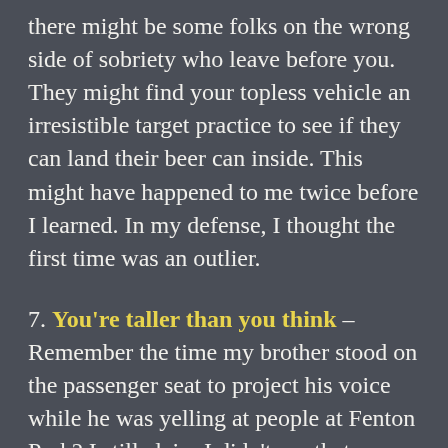there might be some folks on the wrong side of sobriety who leave before you. They might find your topless vehicle an irresistible target practice to see if they can land their beer can inside. This might have happened to me twice before I learned. In my defense, I thought the first time was an outlier.
7. You're taller than you think – Remember the time my brother stood on the passenger seat to project his voice while he was yelling at people at Fenton Park? I still claim I didn't see that branch before it thunked him in the back of the head. I mean, okay, I saw it, but I